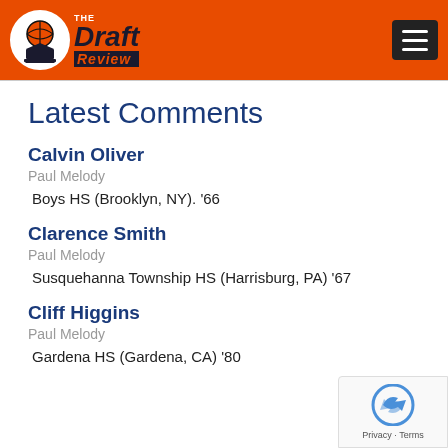[Figure (logo): The Draft Review logo with basketball icon on orange header background]
Latest Comments
Calvin Oliver
Paul Melody
Boys HS (Brooklyn, NY). '66
Clarence Smith
Paul Melody
Susquehanna Township HS (Harrisburg, PA) '67
Cliff Higgins
Paul Melody
Gardena HS (Gardena, CA) '80